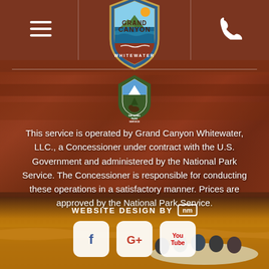[Figure (logo): Grand Canyon Whitewater shield-shaped logo with mountain and water imagery]
[Figure (logo): National Park Service arrowhead badge logo]
This service is operated by Grand Canyon Whitewater, LLC., a Concessioner under contract with the U.S. Government and administered by the National Park Service. The Concessioner is responsible for conducting these operations in a satisfactory manner. Prices are approved by the National Park Service.
WEBSITE DESIGN BY [nm]
[Figure (other): Social media icons row: Facebook (f), Google Plus (G+), YouTube (You Tube)]
[Figure (photo): Rafting photo at bottom showing people in a raft on rapids with canyon walls]